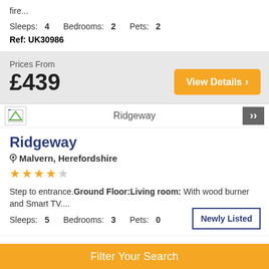fire...
Sleeps: 4   Bedrooms: 2   Pets: 2
Ref: UK30986
Prices From £439
View Details ›
Ridgeway
Ridgeway
Malvern, Herefordshire
★★★★☆
Step to entrance. Ground Floor: Living room: With wood burner and Smart TV....
Sleeps: 5   Bedrooms: 3   Pets: 0
Newly Listed
Filter Your Search